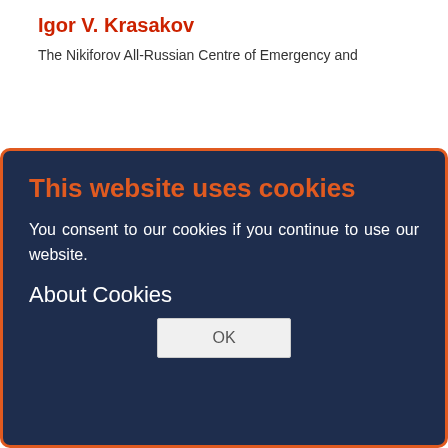Igor V. Krasakov
The Nikiforov All-Russian Centre of Emergency and Radiation Medicine; S.M. Kirov Military Medical Academy
Email: poloe169@mail.ru
Russian Federation, St. Petersburg
Olga V. Tikhomirova
The Nikiforov All-Russian Centre of Emergency and Radiation Medicine
Email: poloe169@mail.ru
Russian Federation, St. Petersburg
[Figure (screenshot): Cookie consent modal dialog with dark navy background and orange border. Title 'This website uses cookies' in orange. Body text: 'You consent to our cookies if you continue to use our website.' Section heading 'About Cookies'. OK button.]
Vladimir D. Nazarov
Pavlov First Saint Petersburg State Medical University
Email: poloe169@mail.ru
Russian Federation, St. Petersburg